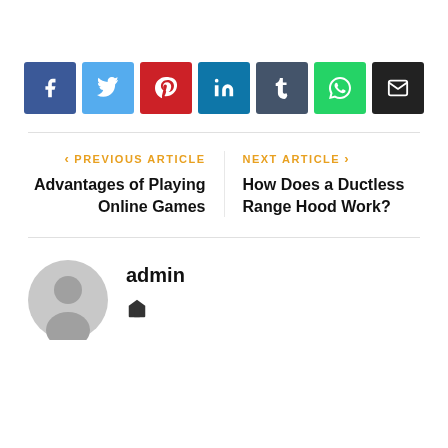[Figure (infographic): Row of 7 social share buttons: Facebook (blue), Twitter (light blue), Pinterest (red), LinkedIn (dark blue), Tumblr (dark slate), WhatsApp (green), Email (black)]
PREVIOUS ARTICLE — Advantages of Playing Online Games | NEXT ARTICLE — How Does a Ductless Range Hood Work?
admin (with home icon)